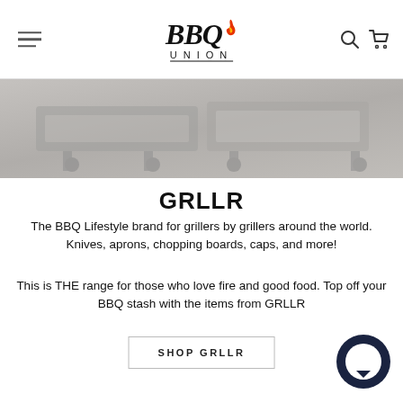BBQ UNION — navigation header with hamburger menu, BBQ Union logo, search and cart icons
[Figure (photo): Hero banner image showing BBQ grills equipment in a muted gray-toned background]
GRLLR
The BBQ Lifestyle brand for grillers by grillers around the world. Knives, aprons, chopping boards, caps, and more!
This is THE range for those who love fire and good food. Top off your BBQ stash with the items from GRLLR
SHOP GRLLR
[Figure (illustration): Dark navy chat bubble / messaging icon in bottom right corner]